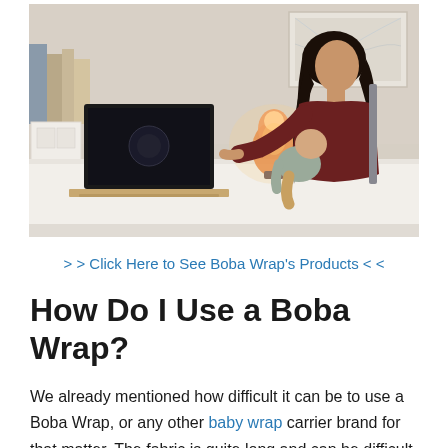[Figure (photo): A woman with dark hair sits at a white desk working on a laptop, holding a baby on her lap. There is a warm-glowing salt lamp on the desk, books on the left, and a framed artwork on the wall behind her.]
> > Click Here to See Boba Wrap's Products < <
How Do I Use a Boba Wrap?
We already mentioned how difficult it can be to use a Boba Wrap, or any other baby wrap carrier brand for that matter. The fabric is quite long and can be difficult to use in rush situations. Luckily,